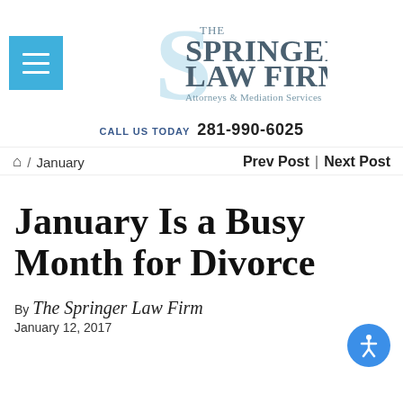[Figure (logo): The Springer Law Firm logo with large stylized S in light blue and firm name text]
CALL US TODAY  281-990-6025
⌂ / January     Prev Post | Next Post
January Is a Busy Month for Divorce
By The Springer Law Firm
January 12, 2017